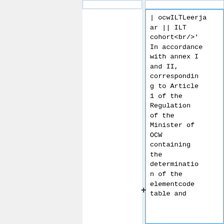| ocwILTLeerja
ar || ILT cohort<br/>'In accordance with annex I and II, corresponding to Article 1 of the Regulation of the Minister of OCW containing the determination of the elementcode table and